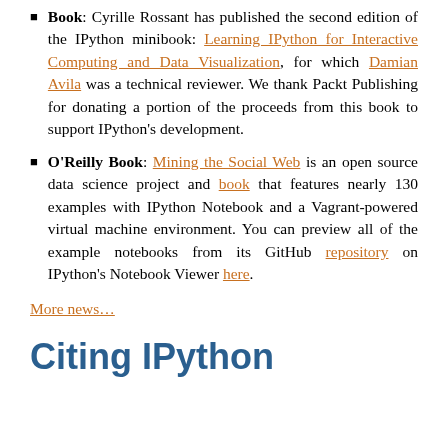Book: Cyrille Rossant has published the second edition of the IPython minibook: Learning IPython for Interactive Computing and Data Visualization, for which Damian Avila was a technical reviewer. We thank Packt Publishing for donating a portion of the proceeds from this book to support IPython's development.
O'Reilly Book: Mining the Social Web is an open source data science project and book that features nearly 130 examples with IPython Notebook and a Vagrant-powered virtual machine environment. You can preview all of the example notebooks from its GitHub repository on IPython's Notebook Viewer here.
More news…
Citing IPython